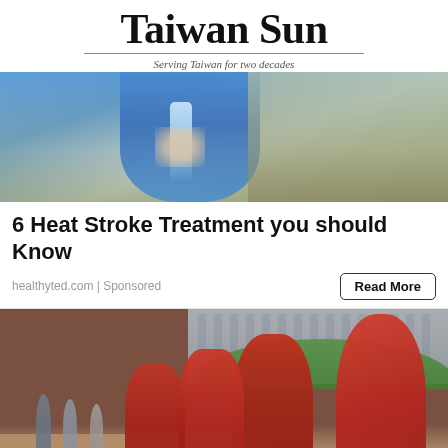Taiwan Sun
Serving Taiwan for two decades
[Figure (photo): Woman in blue top holding a water bottle outdoors]
6 Heat Stroke Treatment you should Know
healthyted.com | Sponsored
[Figure (photo): Group of people in red robes walking on a stone pathway with a city and green trees in the background]